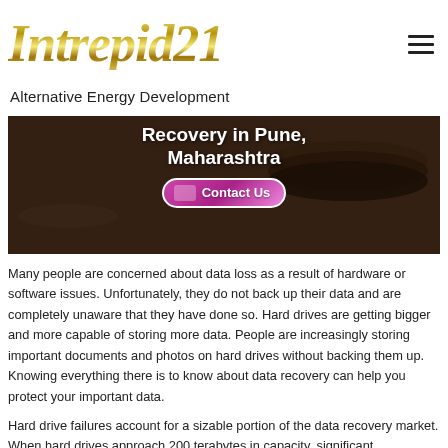[Figure (logo): Intrepid21 logo in gold italic text]
Alternative Energy Development
[Figure (photo): Banner image showing hard drives with overlay text 'Recovery in Pune, Maharashtra' and a Contact Us button]
Many people are concerned about data loss as a result of hardware or software issues. Unfortunately, they do not back up their data and are completely unaware that they have done so. Hard drives are getting bigger and more capable of storing more data. People are increasingly storing important documents and photos on hard drives without backing them up. Knowing everything there is to know about data recovery can help you protect your important data.
Hard drive failures account for a sizable portion of the data recovery market. When hard drives approach 200 terabytes in capacity, significant